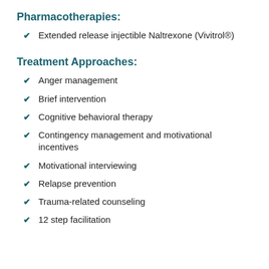Pharmacotherapies:
Extended release injectible Naltrexone (Vivitrol®)
Treatment Approaches:
Anger management
Brief intervention
Cognitive behavioral therapy
Contingency management and motivational incentives
Motivational interviewing
Relapse prevention
Trauma-related counseling
12 step facilitation